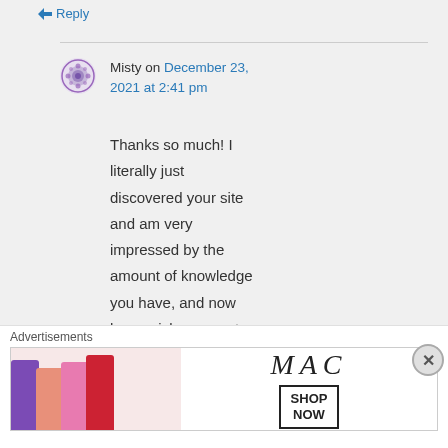↵ Reply
Misty on December 23, 2021 at 2:41 pm
Thanks so much! I literally just discovered your site and am very impressed by the amount of knowledge you have, and now how quick you are to
Advertisements
[Figure (photo): MAC cosmetics advertisement showing colorful lipsticks and MAC logo with SHOP NOW button]